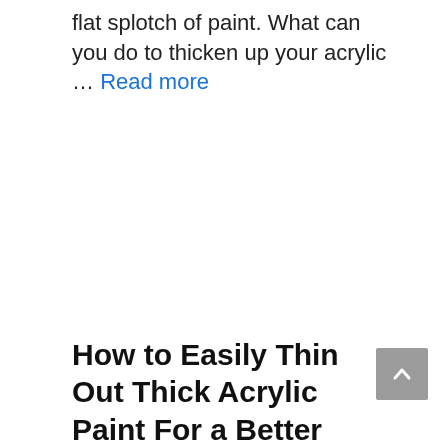flat splotch of paint. What can you do to thicken up your acrylic … Read more
How to Easily Thin Out Thick Acrylic Paint For a Better